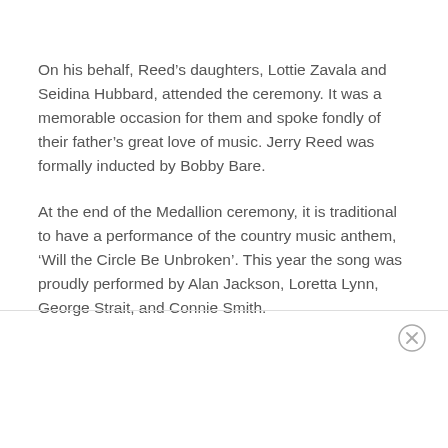On his behalf, Reed's daughters, Lottie Zavala and Seidina Hubbard, attended the ceremony. It was a memorable occasion for them and spoke fondly of their father's great love of music. Jerry Reed was formally inducted by Bobby Bare.
At the end of the Medallion ceremony, it is traditional to have a performance of the country music anthem, ‘Will the Circle Be Unbroken’. This year the song was proudly performed by Alan Jackson, Loretta Lynn, George Strait, and Connie Smith.